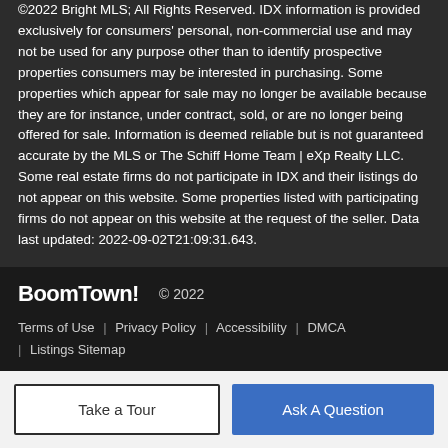©2022 Bright MLS; All Rights Reserved. IDX information is provided exclusively for consumers' personal, non-commercial use and may not be used for any purpose other than to identify prospective properties consumers may be interested in purchasing. Some properties which appear for sale may no longer be available because they are for instance, under contract, sold, or are no longer being offered for sale. Information is deemed reliable but is not guaranteed accurate by the MLS or The Schiff Home Team | eXp Realty LLC. Some real estate firms do not participate in IDX and their listings do not appear on this website. Some properties listed with participating firms do not appear on this website at the request of the seller. Data last updated: 2022-09-02T21:09:31.643.
BoomTown! © 2022 | Terms of Use | Privacy Policy | Accessibility | DMCA | Listings Sitemap
Take a Tour
Ask A Question